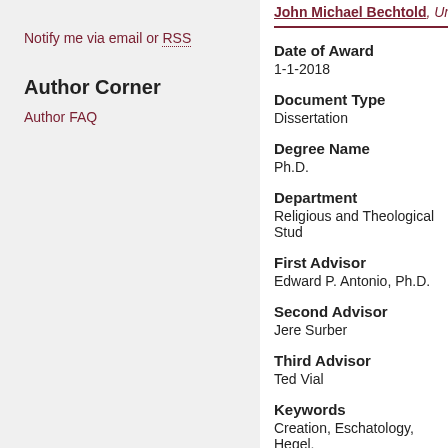Notify me via email or RSS
Author Corner
Author FAQ
John Michael Bechtold, Univ...
Date of Award
1-1-2018
Document Type
Dissertation
Degree Name
Ph.D.
Department
Religious and Theological Stud...
First Advisor
Edward P. Antonio, Ph.D.
Second Advisor
Jere Surber
Third Advisor
Ted Vial
Keywords
Creation, Eschatology, Hegel,...